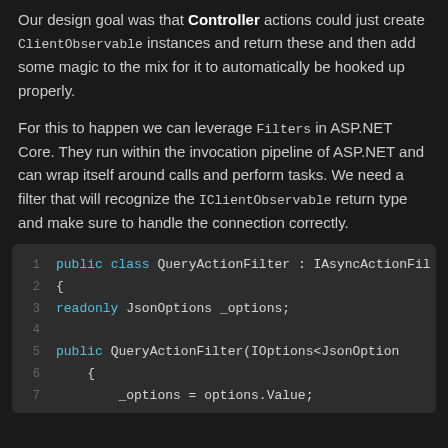Our design goal was that Controller actions could just create ClientObservable instances and return these and then add some magic to the mix for it to automatically be hooked up properly.
For this to happen we can leverage Filters in ASP.NET Core. They run within the invocation pipeline of ASP.NET and can wrap itself around calls and perform tasks. We need a filter that will recognize the IClientObservable return type and make sure to handle the connection correctly.
[Figure (screenshot): Code snippet showing public class QueryActionFilter : IAsyncActionFilter with constructor taking IOptions<JsonOptions> and assigning _options = options.Value;]